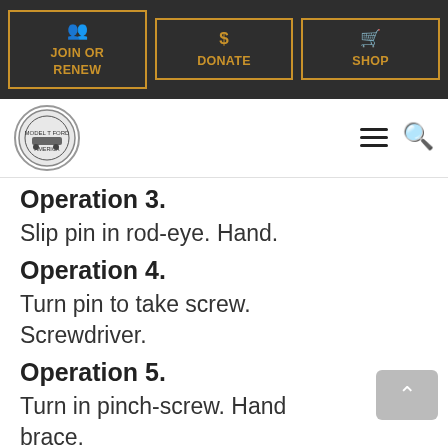JOIN OR RENEW | DONATE | SHOP
[Figure (logo): Model T Ford Club of America circular logo with car emblem]
Operation 3.
Slip pin in rod-eye. Hand.
Operation 4.
Turn pin to take screw. Screwdriver.
Operation 5.
Turn in pinch-screw. Hand brace.
Operation 6.
Tighten screw with open and